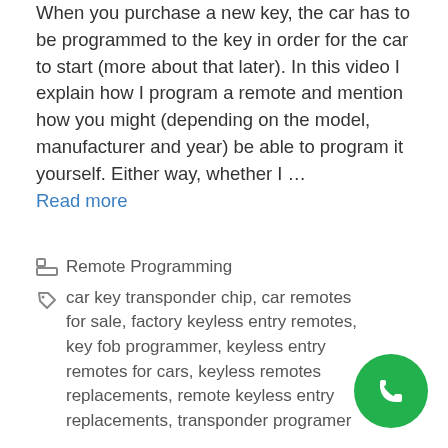When you purchase a new key, the car has to be programmed to the key in order for the car to start (more about that later). In this video I explain how I program a remote and mention how you might (depending on the model, manufacturer and year) be able to program it yourself. Either way, whether I … Read more
Categories: Remote Programming
Tags: car key transponder chip, car remotes for sale, factory keyless entry remotes, key fob programmer, keyless entry remotes for cars, keyless remotes replacements, remote keyless entry replacements, transponder programer